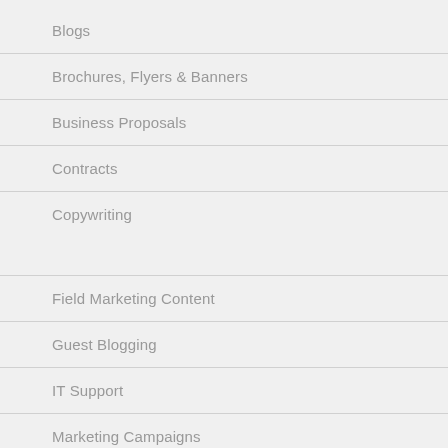Blogs
Brochures, Flyers & Banners
Business Proposals
Contracts
Copywriting
Field Marketing Content
Guest Blogging
IT Support
Marketing Campaigns
Meta Descriptions
Meta Titles
Multimedia Content